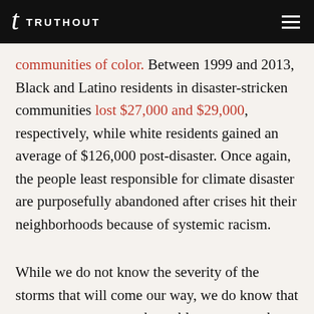TRUTHOUT
communities of color. Between 1999 and 2013, Black and Latino residents in disaster-stricken communities lost $27,000 and $29,000, respectively, while white residents gained an average of $126,000 post-disaster. Once again, the people least responsible for climate disaster are purposefully abandoned after crises hit their neighborhoods because of systemic racism.
While we do not know the severity of the storms that will come our way, we do know that grassroots groups are best able to support the